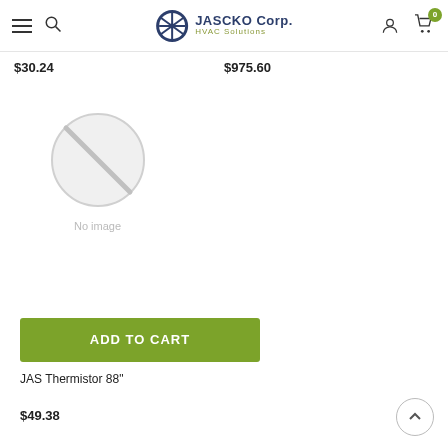JASCKO Corp. HVAC Solutions
$30.24
$975.60
[Figure (illustration): No image placeholder icon — circle with diagonal line]
ADD TO CART
JAS Thermistor 88"
$49.38